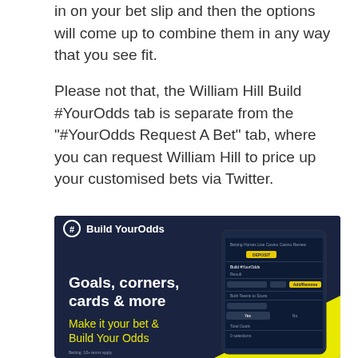in on your bet slip and then the options will come up to combine them in any way that you see fit.
Please not that, the William Hill Build #YourOdds tab is separate from the "#YourOdds Request A Bet" tab, where you can request William Hill to price up your customised bets via Twitter.
[Figure (photo): William Hill Build YourOdds promotional banner showing a smartphone with the Build YourOdds interface. Text reads 'Goals, corners, cards & more' and 'Make it your bet & Build Your Odds'. Dark navy and yellow color scheme.]